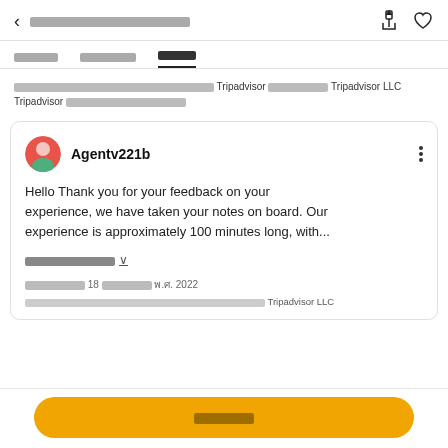< [Thai navigation title text]  [share icon] [heart icon]
[Thai tab labels] [Thai tab] [Thai tab - active]
[Thai text] Tripadvisor [Thai text] Tripadvisor LLC Tripadvisor [Thai text]
Agentv221b
Hello Thank you for your feedback on your experience, we have taken your notes on board. Our experience is approximately 100 minutes long, with...
[Thai read more] v
[Thai date text] 18 [Thai month] พ.ศ. 2022
[Thai footer text] Tripadvisor LLC
[Thai CTA button text]